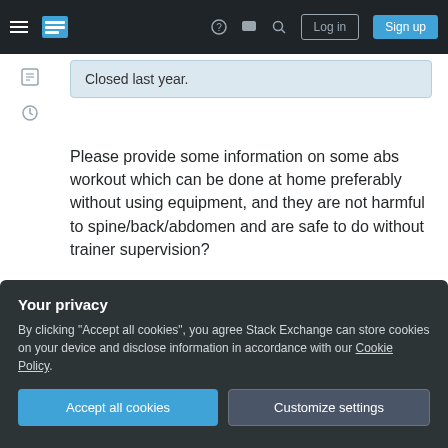Stack Exchange navigation bar with hamburger menu, logo, help, chat, search icons, Log in and Sign up buttons
Closed last year.
Please provide some information on some abs workout which can be done at home preferably without using equipment, and they are not harmful to spine/back/abdomen and are safe to do without trainer supervision?
abdominals
core
hernia
Your privacy
By clicking "Accept all cookies", you agree Stack Exchange can store cookies on your device and disclose information in accordance with our Cookie Policy.
Accept all cookies
Customize settings
completely answers my question. — lousycoder Apr